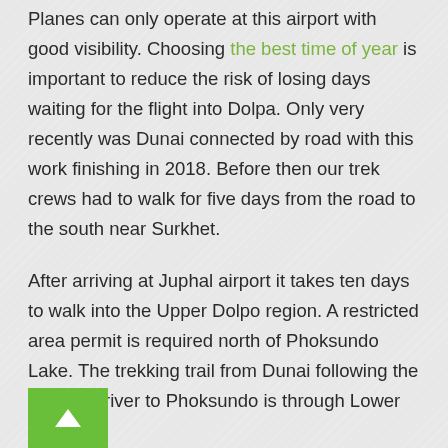Planes can only operate at this airport with good visibility. Choosing the best time of year is important to reduce the risk of losing days waiting for the flight into Dolpa. Only very recently was Dunai connected by road with this work finishing in 2018. Before then our trek crews had to walk for five days from the road to the south near Surkhet.
After arriving at Juphal airport it takes ten days to walk into the Upper Dolpo region. A restricted area permit is required north of Phoksundo Lake. The trekking trail from Dunai following the Suli Gad river to Phoksundo is through Lower Dolpo.
[Figure (other): Green back-to-top button with upward arrow chevron in bottom left corner]